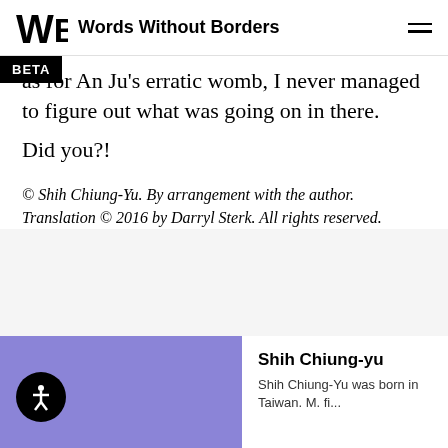Words Without Borders
as for An Ju's erratic womb, I never managed to figure out what was going on in there.
Did you?!
© Shih Chiung-Yu. By arrangement with the author. Translation © 2016 by Darryl Sterk. All rights reserved.
Shih Chiung-yu
Shih Chiung-Yu was born in Taiwan. M. fi...